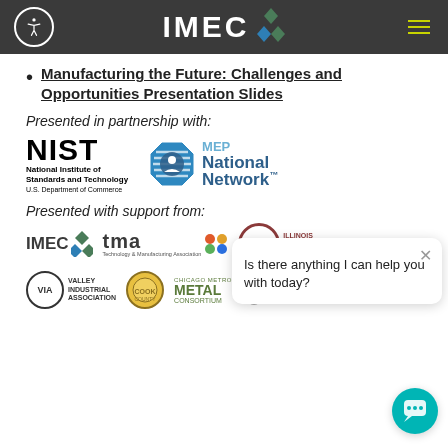IMEC
Manufacturing the Future: Challenges and Opportunities Presentation Slides
Presented in partnership with:
[Figure (logo): NIST National Institute of Standards and Technology U.S. Department of Commerce logo]
[Figure (logo): MEP National Network logo]
Presented with support from:
[Figure (logo): IMEC logo]
[Figure (logo): TMA Technology & Manufacturing Association logo]
[Figure (logo): IDN Illinois Defense Network logo]
[Figure (logo): VIA Valley Industrial Association logo]
[Figure (logo): Cook County logo]
[Figure (logo): Chicago Metro Metal Consortium logo]